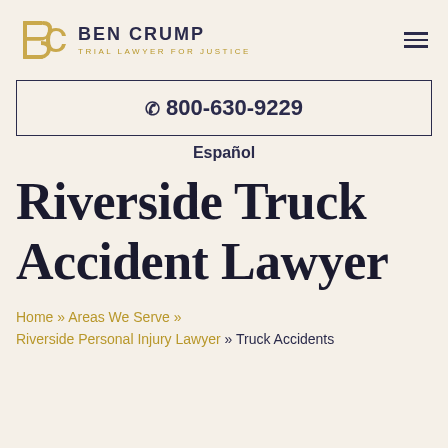BEN CRUMP — TRIAL LAWYER FOR JUSTICE
☎ 800-630-9229
Español
Riverside Truck Accident Lawyer
Home » Areas We Serve » Riverside Personal Injury Lawyer » Truck Accidents